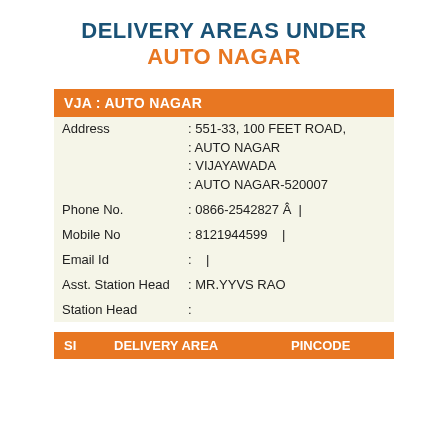DELIVERY AREAS UNDER AUTO NAGAR
| VJA : AUTO NAGAR |
| --- |
| Address | : 551-33, 100 FEET ROAD,
: AUTO NAGAR
: VIJAYAWADA
: AUTO NAGAR-520007 |
| Phone No. | : 0866-2542827 Â  | |
| Mobile No | : 8121944599    | |
| Email Id | :    | |
| Asst. Station Head | : MR.YYVS RAO |
| Station Head | : |
| SI | DELIVERY AREA | PINCODE |
| --- | --- | --- |